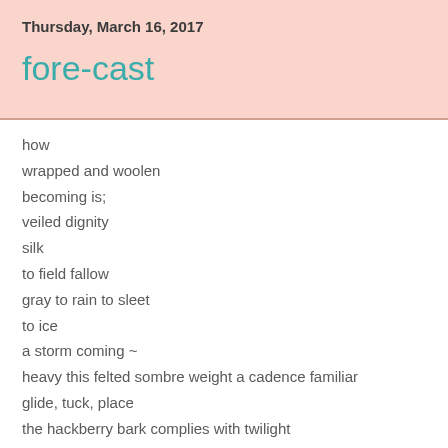Thursday, March 16, 2017
fore-cast
how
wrapped and woolen
becoming is;
veiled dignity
silk
to field fallow
gray to rain to sleet
to ice
a storm coming ~
heavy this felted sombre weight a cadence familiar
glide, tuck, place
the hackberry bark complies with twilight
amid the press and vastness
glide, tuck, place
the ice is to be 2 inches thick